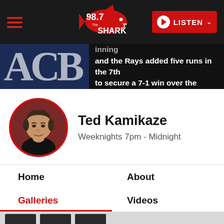98.7 The Shark — LISTEN
[Figure (screenshot): Hero banner showing sports news text: 'hit a leadoff homer in the 1st inning and the Rays added five runs in the 7th to secure a 7-1 win over the Royals']
Ted Kamikaze
Weeknights 7pm - Midnight
Home
About
Galleries
Videos